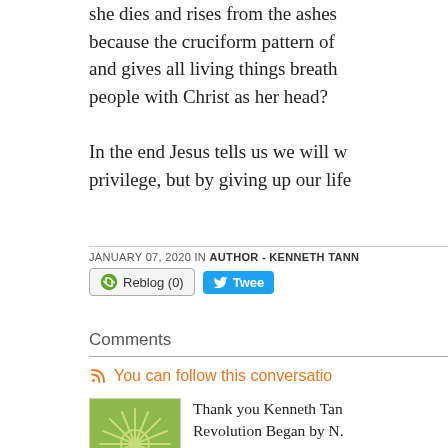she dies and rises from the ashes because the cruciform pattern of and gives all living things breath people with Christ as her head?
In the end Jesus tells us we will w privilege, but by giving up our life
JANUARY 07, 2020 IN AUTHOR - KENNETH TANN
[Figure (screenshot): Reblog (0) button and Tweet button]
Comments
You can follow this conversatio
[Figure (illustration): Green starburst/snowflake avatar image for commenter]
Thank you Kenneth Tan Revolution Began by N. am especially blessed a wholeness found in Jes